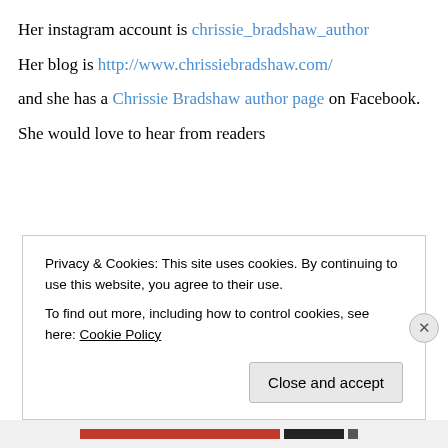Her instagram account is chrissie_bradshaw_author
Her blog is http://www.chrissiebradshaw.com/
and she has a Chrissie Bradshaw author page on Facebook.
She would love to hear from readers
Privacy & Cookies: This site uses cookies. By continuing to use this website, you agree to their use. To find out more, including how to control cookies, see here: Cookie Policy